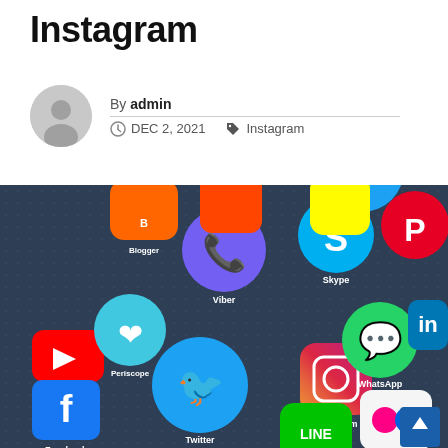Instagram
By admin
DEC 2, 2021  Instagram
[Figure (photo): Smartphone screen showing multiple social media app icons including YouTube, Facebook, Twitter, Instagram, WhatsApp, Viber, Skype, Periscope, Pinterest, LINE, Flickr, and others on a dark grid background]